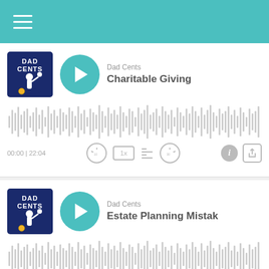Navigation menu (hamburger icon) on teal bar
[Figure (screenshot): Podcast player card for 'Dad Cents - Charitable Giving'. Shows album art with 'DAD CENTS' text and figure silhouette, teal play button, waveform visualization, time 00:00 / 22:04, playback controls: back 10s, 1x speed, playlist, forward 30s, info, share.]
[Figure (screenshot): Podcast player card for 'Dad Cents - Estate Planning Mistak...' (truncated). Shows album art with 'DAD CENTS' text and figure silhouette, teal play button, waveform visualization, time 00:00 / 21:25, playback controls: back 10s, 1x speed, playlist, forward 30s, info. Scroll-to-top teal button bottom right.]